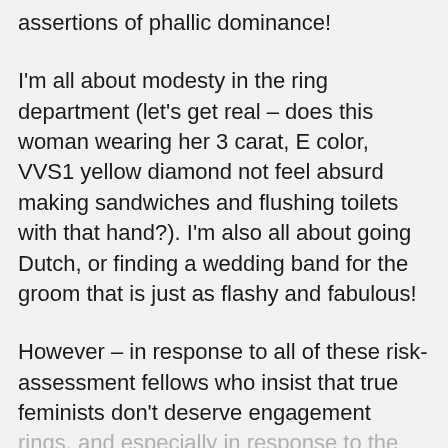assertions of phallic dominance!
I'm all about modesty in the ring department (let's get real – does this woman wearing her 3 carat, E color, VVS1 yellow diamond not feel absurd making sandwiches and flushing toilets with that hand?). I'm also all about going Dutch, or finding a wedding band for the groom that is just as flashy and fabulous!
However – in response to all of these risk-assessment fellows who insist that true feminists don't deserve engagement rings, and especially in response to the gentleman who suggested that a woman's